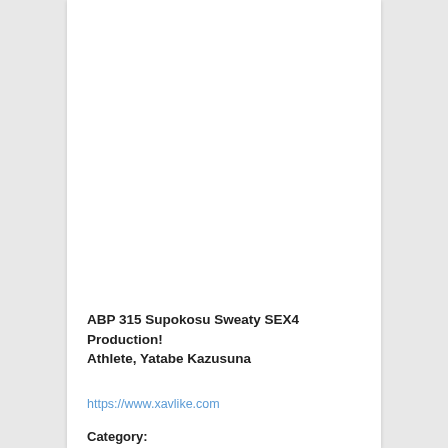ABP 315 Supokosu Sweaty SEX4 Production! Athlete, Yatabe Kazusuna
https://www.xavlike.com
Category:
Censor, Japan